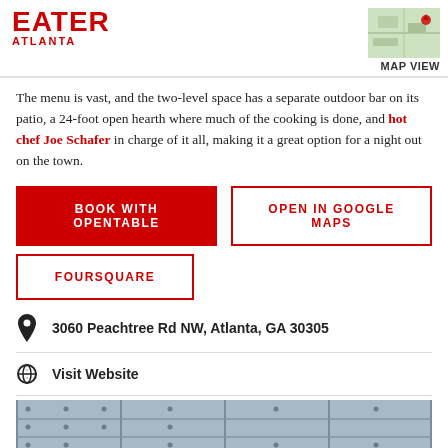EATER ATLANTA | MAP VIEW
The menu is vast, and the two-level space has a separate outdoor bar on its patio, a 24-foot open hearth where much of the cooking is done, and hot chef Joe Schafer in charge of it all, making it a great option for a night out on the town.
BOOK WITH OPENTABLE
OPEN IN GOOGLE MAPS
FOURSQUARE
3060 Peachtree Rd NW, Atlanta, GA 30305
Visit Website
[Figure (photo): Interior photo showing metal panels and a copper/brass bar counter surface with warm lighting]